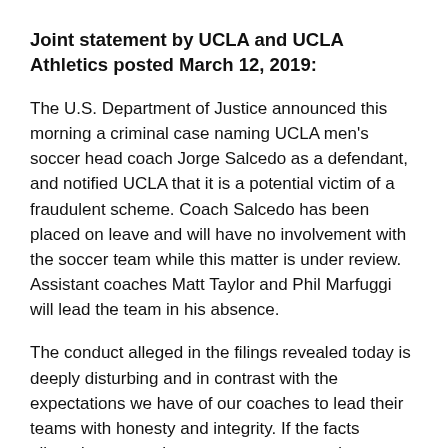Joint statement by UCLA and UCLA Athletics posted March 12, 2019:
The U.S. Department of Justice announced this morning a criminal case naming UCLA men's soccer head coach Jorge Salcedo as a defendant, and notified UCLA that it is a potential victim of a fraudulent scheme. Coach Salcedo has been placed on leave and will have no involvement with the soccer team while this matter is under review. Assistant coaches Matt Taylor and Phil Marfuggi will lead the team in his absence.
The conduct alleged in the filings revealed today is deeply disturbing and in contrast with the expectations we have of our coaches to lead their teams with honesty and integrity. If the facts alleged are true, they represent a grave departure from the ethical standards we set for ourselves and the people who work here.